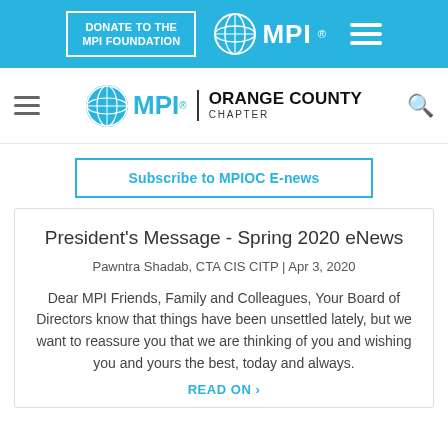DONATE TO THE MPI FOUNDATION | MPI (logo) | Menu
[Figure (logo): MPI Orange County Chapter logo with globe icon, organization name, and navigation elements]
Subscribe to MPIOC E-news
President's Message - Spring 2020 eNews
Pawntra Shadab, CTA CIS CITP | Apr 3, 2020
Dear MPI Friends, Family and Colleagues, Your Board of Directors know that things have been unsettled lately, but we want to reassure you that we are thinking of you and wishing you and yours the best, today and always.
READ ON >